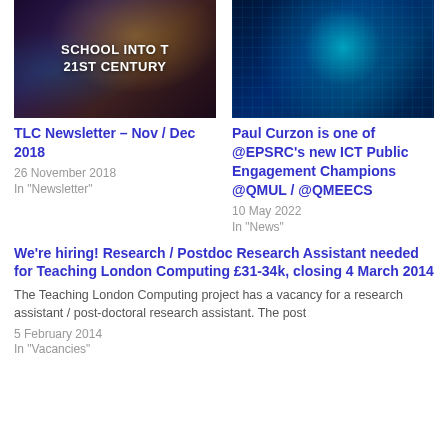[Figure (photo): Dark space/DNA themed banner image with text 'SCHOOL INTO THE 21ST CENTURY']
[Figure (photo): Digital/code themed banner with glowing cyan circular pattern on dark blue background]
TLC Newsletter – Nov / Dec 2018
26 November 2018
In "Newsletter"
Paul Curzon is one of @EPSRC's new ICT Public Engagement Champions @QMUL / @QMEECS
10 May 2022
In "News"
We're hiring! Research / Postdoc Research Assistant needed for Teaching London Computing £31-34k, closing 4 March 2014
The Teaching London Computing project has a vacancy for a research assistant / post-doctoral research assistant. The post
5 February 2014
In "Vacancies"